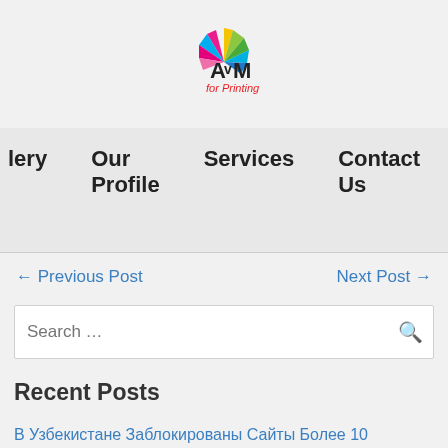[Figure (logo): AVM for Printing logo — colorful semicircle of triangular segments above the text 'AVM for Printing']
lery   Our Profile   Services   Contact Us
← Previous Post   Next Post →
[Figure (screenshot): Search input box with placeholder 'Search ...' and magnifying glass icon]
Recent Posts
В Узбекистане Заблокированы Сайты Более 10 Букмекерских Контор
Блок...